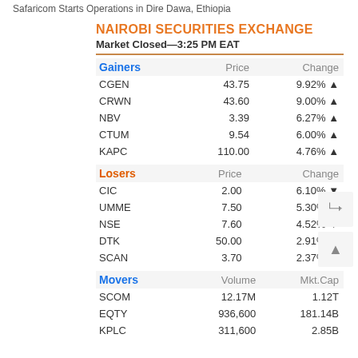Safaricom Starts Operations in Dire Dawa, Ethiopia
NAIROBI SECURITIES EXCHANGE
Market Closed—3:25 PM EAT
| Gainers | Price | Change |
| --- | --- | --- |
| CGEN | 43.75 | 9.92% ▲ |
| CRWN | 43.60 | 9.00% ▲ |
| NBV | 3.39 | 6.27% ▲ |
| CTUM | 9.54 | 6.00% ▲ |
| KAPC | 110.00 | 4.76% ▲ |
| Losers | Price | Change |
| --- | --- | --- |
| CIC | 2.00 | 6.10% ▼ |
| UMME | 7.50 | 5.30% ▼ |
| NSE | 7.60 | 4.52% ▼ |
| DTK | 50.00 | 2.91% ▼ |
| SCAN | 3.70 | 2.37% ▼ |
| Movers | Volume | Mkt.Cap |
| --- | --- | --- |
| SCOM | 12.17M | 1.12T |
| EQTY | 936,600 | 181.14B |
| KPLC | 311,600 | 2.85B |